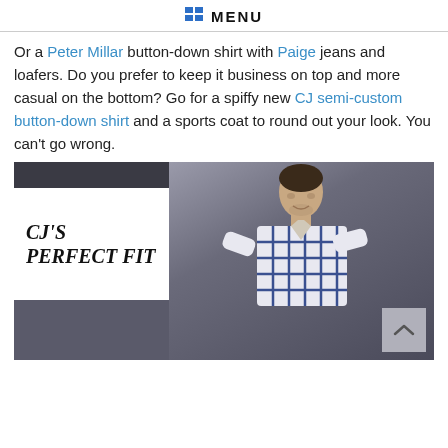MENU
Or a Peter Millar button-down shirt with Paige jeans and loafers. Do you prefer to keep it business on top and more casual on the bottom? Go for a spiffy new CJ semi-custom button-down shirt and a sports coat to round out your look. You can't go wrong.
[Figure (photo): Promotional image with white text box reading CJ'S PERFECT FIT in italic bold, alongside a man wearing a plaid button-down shirt posed against a grey background.]